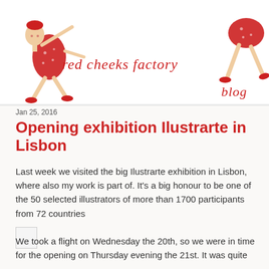[Figure (illustration): Red Cheeks Factory blog header with illustrated figures of a girl in red dress on the left and right, and handwritten red text 'red cheeks factory' in the center and 'blog' on the right]
Jan 25, 2016
Opening exhibition Ilustrarte in Lisbon
Last week we visited the big Ilustrarte exhibition in Lisbon, where also my work is part of. It's a big honour to be one of the 50 selected illustrators of more than 1700 participants from 72 countries
[Figure (photo): Small thumbnail image placeholder]
We took a flight on Wednesday the 20th, so we were in time for the opening on Thursday evening the 21st. It was quite an amazing exhibition.